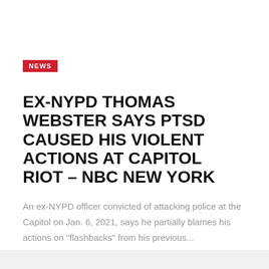NEWS
EX-NYPD THOMAS WEBSTER SAYS PTSD CAUSED HIS VIOLENT ACTIONS AT CAPITOL RIOT – NBC NEW YORK
An ex-NYPD officer convicted of attacking police at the Capitol on Jan. 6, 2021, says he partially blames his actions on "flashbacks" from his previous...
Brian Sharp
August 30, 2022
READ MORE